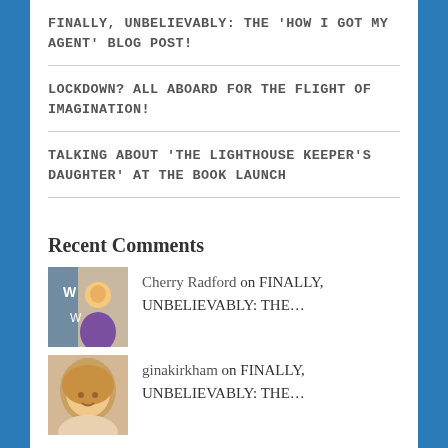FINALLY, UNBELIEVABLY: THE 'HOW I GOT MY AGENT' BLOG POST!
LOCKDOWN? ALL ABOARD FOR THE FLIGHT OF IMAGINATION!
TALKING ABOUT 'THE LIGHTHOUSE KEEPER'S DAUGHTER' AT THE BOOK LAUNCH
Recent Comments
Cherry Radford on FINALLY, UNBELIEVABLY: THE…
ginakirkham on FINALLY, UNBELIEVABLY: THE…